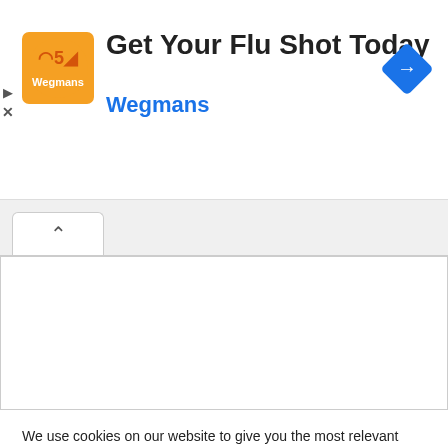[Figure (screenshot): Ad banner for Wegmans flu shot with orange logo, navigation arrow icon, play and close controls]
Get Your Flu Shot Today
Wegmans
[Figure (screenshot): Collapsed accordion tab with up-chevron, white content panel below]
We use cookies on our website to give you the most relevant experience by remembering your preferences and repeat visits. By clicking “Accept All”, you consent to the use of ALL the cookies. However, you may visit "Cookie Settings" to provide a controlled consent.